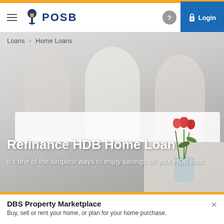POSB – Loans > Home Loans – Login
Loans > Home Loans
[Figure (photo): Hero banner showing three happy children waving, with red tulips in a vase in the foreground, on a light gray background]
Refinance HDB Home Loan
It's one of the simplest ways to enjoy savings on your HDB loan.
DBS Property Marketplace
Buy, sell or rent your home, or plan for your home purchase.